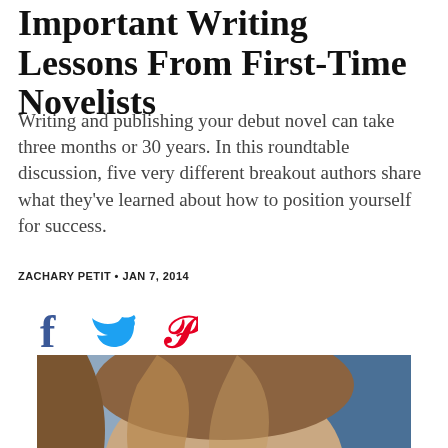Important Writing Lessons From First-Time Novelists
Writing and publishing your debut novel can take three months or 30 years. In this roundtable discussion, five very different breakout authors share what they've learned about how to position yourself for success.
ZACHARY PETIT • JAN 7, 2014
[Figure (infographic): Social sharing icons: Facebook (f), Twitter (bird), Pinterest (P) in blue and red colors]
[Figure (photo): A woman with long brown hair, partially visible, photographed from the shoulders up, with a blurred blue background.]